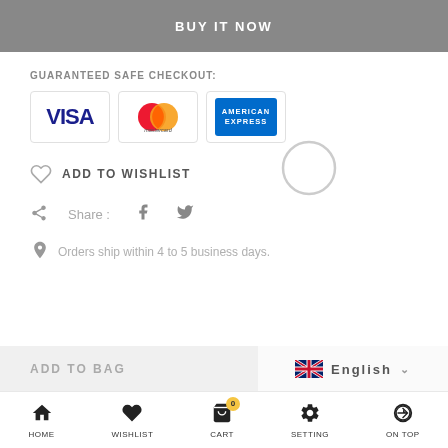BUY IT NOW
GUARANTEED SAFE CHECKOUT:
[Figure (illustration): Payment logos: Visa, Mastercard, American Express]
ADD TO WISHLIST
Share :
Orders ship within 4 to 5 business days.
ADD TO BAG
English
HOME   WISHLIST   CART   SETTING   ON TOP